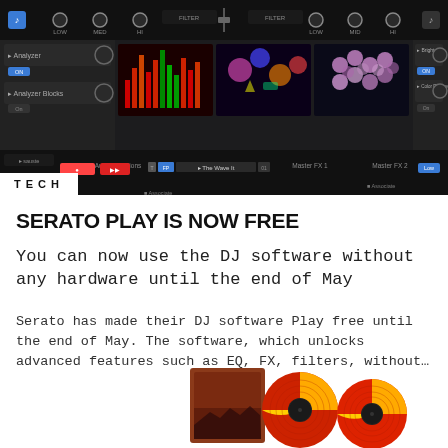[Figure (screenshot): Screenshot of Serato DJ software interface showing mixer controls, video previews with colorful visuals, analyzer and brightness panels, and transport controls. A 'TECH' label appears in the bottom-left corner of the image area.]
SERATO PLAY IS NOW FREE
You can now use the DJ software without any hardware until the end of May
Serato has made their DJ software Play free until the end of May. The software, which unlocks advanced features such as EQ, FX, filters, without...
[Figure (photo): Partially visible photo at the bottom of the page showing vinyl records with red and yellow coloring alongside what appears to be album artwork.]